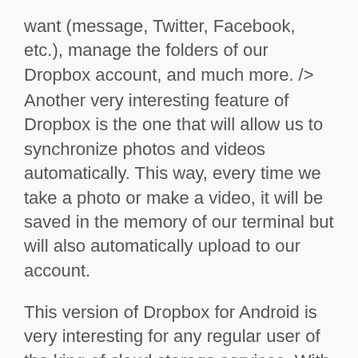want (message, Twitter, Facebook, etc.), manage the folders of our Dropbox account, and much more. />
Another very interesting feature of Dropbox is the one that will allow us to synchronize photos and videos automatically. This way, every time we take a photo or make a video, it will be saved in the memory of our terminal but will also automatically upload to our account.
This version of Dropbox for Android is very interesting for any regular user of the king of cloud storage services. With it in our Android terminal we will not only be able to protect our most precious documents, but basically we will have a hard disk in the cloud to use at our whim.